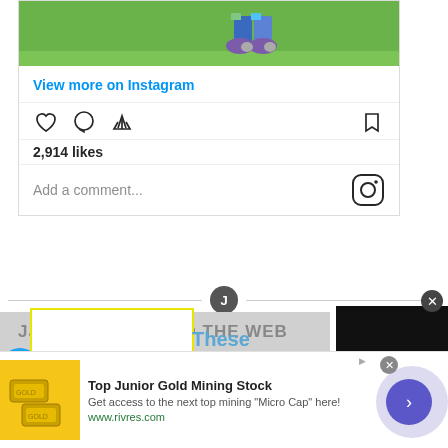[Figure (screenshot): Instagram post screenshot showing animated character feet on green grass background]
View more on Instagram
2,914 likes
Add a comment...
JJJ LINKS AROUND THE WEB
These pros a
[Figure (screenshot): Advertisement: Top Junior Gold Mining Stock - Get access to the next top mining Micro Cap here! www.rivres.com]